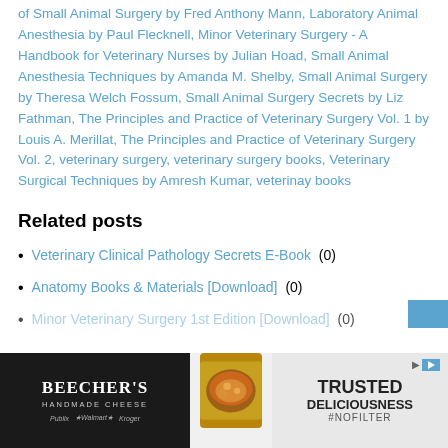of Small Animal Surgery by Fred Anthony Mann, Laboratory Animal Anesthesia by Paul Flecknell, Minor Veterinary Surgery - A Handbook for Veterinary Nurses by Julian Hoad, Small Animal Anesthesia Techniques by Amanda M. Shelby, Small Animal Surgery by Theresa Welch Fossum, Small Animal Surgery Secrets by Liz Fathman, The Principles and Practice of Veterinary Surgery Vol. 1 by Louis A. Merillat, The Principles and Practice of Veterinary Surgery Vol. 2, veterinary surgery, veterinary surgery books, Veterinary Surgical Techniques by Amresh Kumar, veterinay books
Related posts
Veterinary Clinical Pathology Secrets E-Book (0)
Anatomy Books & Materials [Download] (0)
Minor Veterinary Surgery 1st Edition [Download] (0)
[Figure (photo): Beecher's Handmade Cheese advertisement banner with food image on right side]